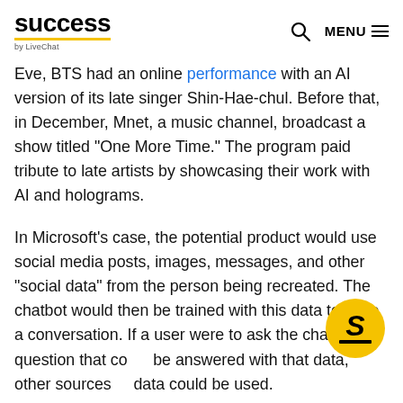success by LiveChat — MENU
Eve, BTS had an online performance with an AI version of its late singer Shin-Hae-chul. Before that, in December, Mnet, a music channel, broadcast a show titled “One More Time.” The program paid tribute to late artists by showcasing their work with AI and holograms.
In Microsoft’s case, the potential product would use social media posts, images, messages, and other “social data” from the person being recreated. The chatbot would then be trained with this data to have a conversation. If a user were to ask the chatbot a question that could be answered with that data, other sources of data could be used.
[Figure (logo): Yellow circular S badge logo for Success by LiveChat]